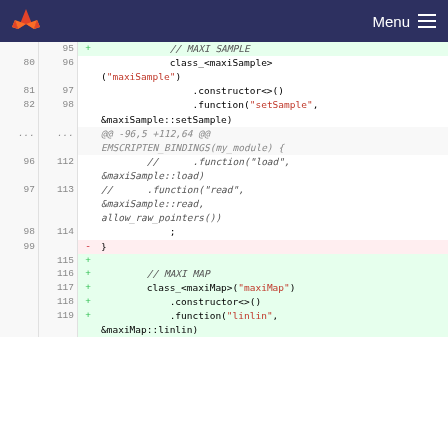GitLab header with logo and Menu
[Figure (screenshot): Code diff view showing lines 95-119 of a C++ EMSCRIPTEN_BINDINGS file with added and removed lines highlighted in green and red respectively]